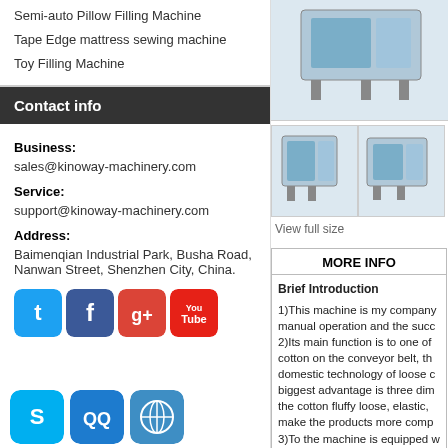Semi-auto Pillow Filling Machine
Tape Edge mattress sewing machine
Toy Filling Machine
Contact info
Business:
sales@kinoway-machinery.com
Service:
support@kinoway-machinery.com
Address:
Baimenqian Industrial Park, Busha Road, Nanwan Street, Shenzhen City, China.
[Figure (other): Social media icons: Twitter, Facebook, Google+, YouTube]
[Figure (other): App icons: Skype, QQ, browser globe]
[Figure (photo): Main product photo of cotton filling machine (blue and white)]
[Figure (photo): Two thumbnail photos of the cotton filling machine from different angles]
View full size
MORE INFO
Brief Introduction
1)This machine is my company manual operation and the succ 2)Its main function is to one of cotton on the conveyor belt, th domestic technology of loose c biggest advantage is three dim the cotton fluffy loose, elastic, make the products more comp 3)To the machine is equipped w is made of high temperature p